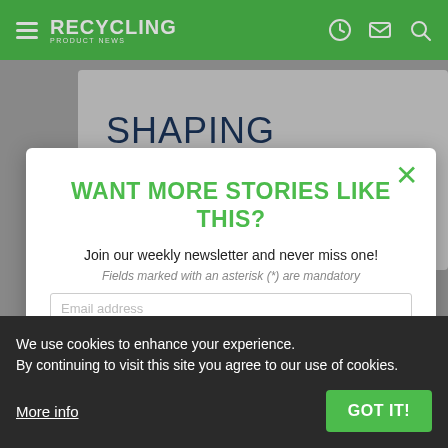RECYCLING PRODUCT NEWS
SHAPING
SORTING
WANT MORE STORIES LIKE THIS?
Join our weekly newsletter and never miss one!
Fields marked with an asterisk (*) are mandatory
Email address
Name
Select a Country
We use cookies to enhance your experience.
By continuing to visit this site you agree to our use of cookies.
More info
GOT IT!